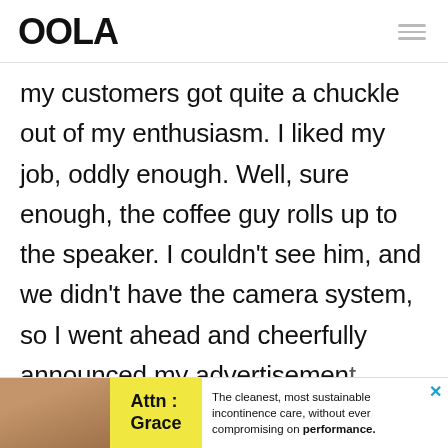OOLA
my customers got quite a chuckle out of my enthusiasm. I liked my job, oddly enough. Well, sure enough, the coffee guy rolls up to the speaker. I couldn't see him, and we didn't have the camera system, so I went ahead and cheerfully announced my advertisement
[Figure (infographic): Advertisement banner at bottom: photo of person, 'Attn: Grace' label in yellow, text: 'The cleanest, most sustainable incontinence care, without ever compromising on performance.']